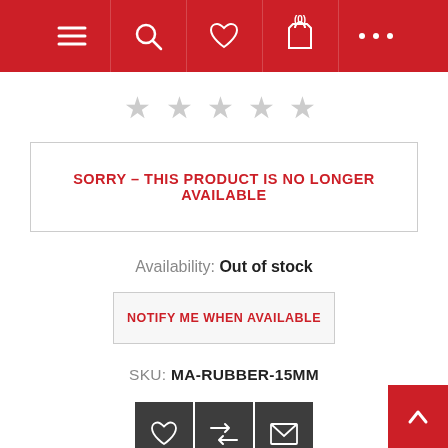Navigation bar with menu, search, wishlist, cart (0), and more options
[Figure (other): Five empty star rating icons (no rating given)]
SORRY – THIS PRODUCT IS NO LONGER AVAILABLE
Availability: Out of stock
NOTIFY ME WHEN AVAILABLE
SKU: MA-RUBBER-15MM
[Figure (other): Three dark square action buttons: wishlist (heart), compare (shuffle), email (envelope)]
[Figure (other): Red back-to-top button with upward chevron arrow]